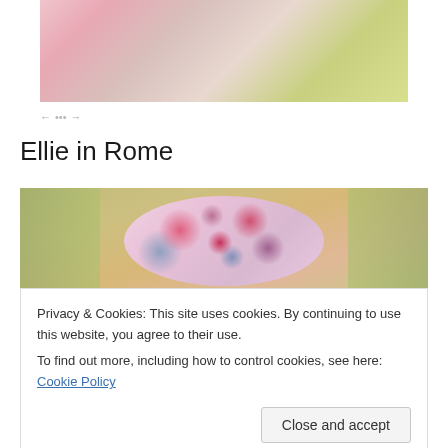[Figure (photo): Close-up photo of a baby in pink clothing with white and green floral fabric visible]
Ellie in Rome
[Figure (photo): Photo of a child wearing a pink floral hat with green patterned fabric in the background]
Privacy & Cookies: This site uses cookies. By continuing to use this website, you agree to their use.
To find out more, including how to control cookies, see here: Cookie Policy
Close and accept